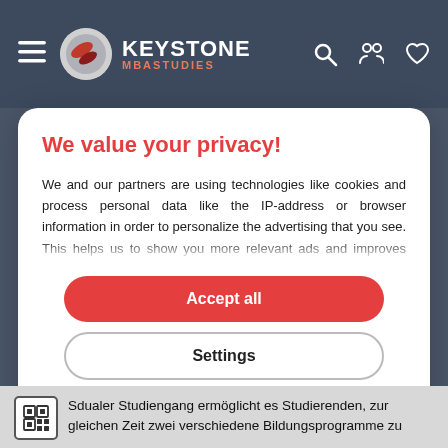KEYSTONE MBASTUDIES
We value your privacy!
We and our partners are using technologies like cookies and process personal data like the IP-address or browser information in order to personalize the advertising that you see. This helps us to show you more relevant ads and improves your internet
Accept all
Settings
Cookies | Privacy notice | T&C
Sdualer Studiengang ermöglicht es Studierenden, zur gleichen Zeit zwei verschiedene Bildungsprogramme zu